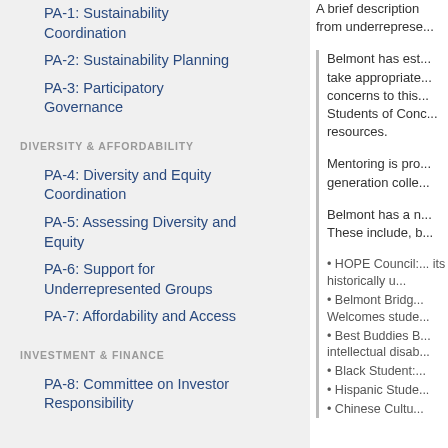PA-1: Sustainability Coordination
PA-2: Sustainability Planning
PA-3: Participatory Governance
DIVERSITY & AFFORDABILITY
PA-4: Diversity and Equity Coordination
PA-5: Assessing Diversity and Equity
PA-6: Support for Underrepresented Groups
PA-7: Affordability and Access
INVESTMENT & FINANCE
PA-8: Committee on Investor Responsibility
A brief description from underreprese...
Belmont has est... take appropriate... concerns to this... Students of Conc... resources.
Mentoring is pro... generation colle...
Belmont has a n... These include, b... • HOPE Council:... its historically u... • Belmont Bridg... Welcomes stude... • Best Buddies B... intellectual disab... • Black Student:... • Hispanic Stude... • Chinese Cultu...